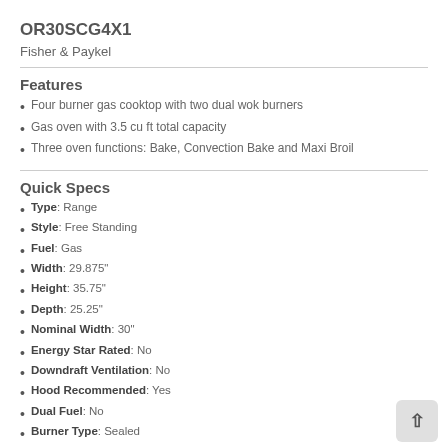OR30SCG4X1
Fisher & Paykel
Features
Four burner gas cooktop with two dual wok burners
Gas oven with 3.5 cu ft total capacity
Three oven functions: Bake, Convection Bake and Maxi Broil
Quick Specs
Type: Range
Style: Free Standing
Fuel: Gas
Width: 29.875"
Height: 35.75"
Depth: 25.25"
Nominal Width: 30"
Energy Star Rated: No
Downdraft Ventilation: No
Hood Recommended: Yes
Dual Fuel: No
Burner Type: Sealed